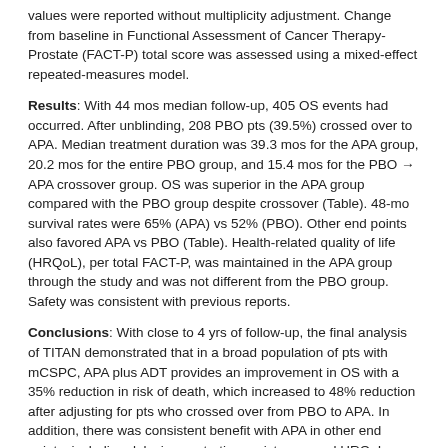values were reported without multiplicity adjustment. Change from baseline in Functional Assessment of Cancer Therapy-Prostate (FACT-P) total score was assessed using a mixed-effect repeated-measures model.
Results: With 44 mos median follow-up, 405 OS events had occurred. After unblinding, 208 PBO pts (39.5%) crossed over to APA. Median treatment duration was 39.3 mos for the APA group, 20.2 mos for the entire PBO group, and 15.4 mos for the PBO → APA crossover group. OS was superior in the APA group compared with the PBO group despite crossover (Table). 48-mo survival rates were 65% (APA) vs 52% (PBO). Other end points also favored APA vs PBO (Table). Health-related quality of life (HRQoL), per total FACT-P, was maintained in the APA group through the study and was not different from the PBO group. Safety was consistent with previous reports.
Conclusions: With close to 4 yrs of follow-up, the final analysis of TITAN demonstrated that in a broad population of pts with mCSPC, APA plus ADT provides an improvement in OS with a 35% reduction in risk of death, which increased to 48% reduction after adjusting for pts who crossed over from PBO to APA. In addition, there was consistent benefit with APA in other end points, including delaying castration resistance, and HRQoL continued to be maintained with an acceptable safety profile.